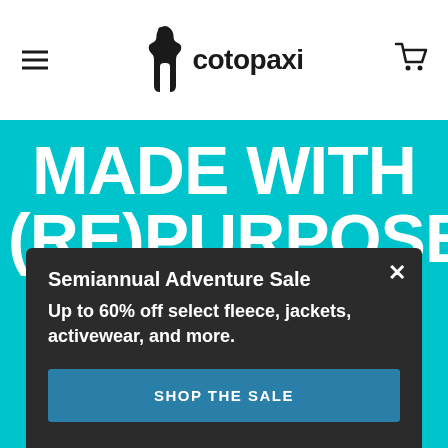cotopaxi
MADE WITH (RE)PURPOSE™
All products in our (Re)Purpose™ Collection use fabric left over from other companies' larger production runs.
Semiannual Adventure Sale
Up to 60% off select fleece, jackets, activewear, and more.
SHOP THE SALE